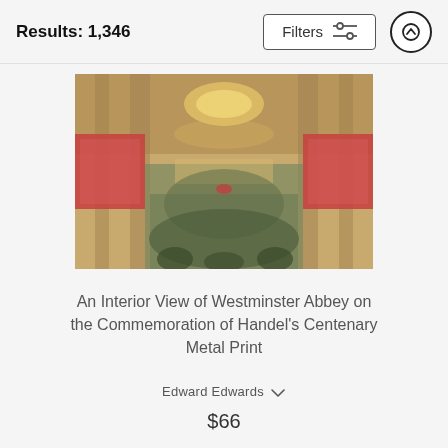Results: 1,346
[Figure (illustration): Filters button with sliders icon and an upward arrow circular button]
[Figure (photo): An Interior View of Westminster Abbey on the Commemoration of Handel's Centenary - painting showing a large crowd gathered inside Westminster Abbey with red balconies and ornate chandeliers]
An Interior View of Westminster Abbey on the Commemoration of Handel's Centenary Metal Print
Edward Edwards
$66